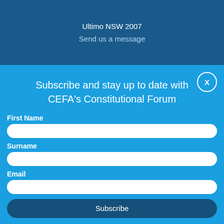Ultimo NSW 2007
Send us a message
Subscribe and stay up to date with CEFA's Constitutional Forum
First Name
Surname
Email
Subscribe